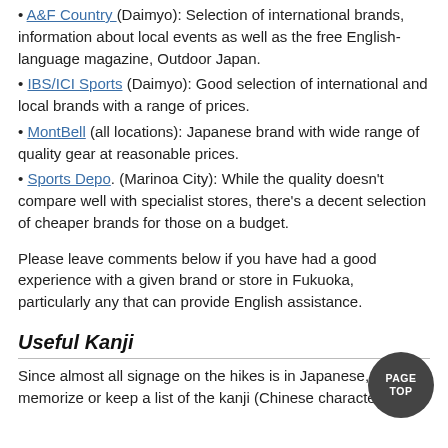A&F Country (Daimyo): Selection of international brands, information about local events as well as the free English-language magazine, Outdoor Japan.
IBS/ICI Sports (Daimyo): Good selection of international and local brands with a range of prices.
MontBell (all locations): Japanese brand with wide range of quality gear at reasonable prices.
Sports Depo. (Marinoa City): While the quality doesn't compare well with specialist stores, there's a decent selection of cheaper brands for those on a budget.
Please leave comments below if you have had a good experience with a given brand or store in Fukuoka, particularly any that can provide English assistance.
Useful Kanji
Since almost all signage on the hikes is in Japanese, try to memorize or keep a list of the kanji (Chinese characters) for